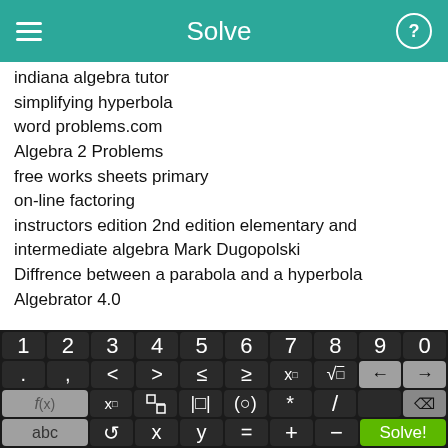Solve
indiana algebra tutor
simplifying hyperbola
word problems.com
Algebra 2 Problems
free works sheets primary
on-line factoring
instructors edition 2nd edition elementary and intermediate algebra Mark Dugopolski
Diffrence between a parabola and a hyperbola
Algebrator 4.0
[Figure (screenshot): Mobile app keyboard with numbers 1-0, math operators (<, >, ≤, ≥, x^□, √□, arrows), function keys (f(x), x□, fraction, |□|, (○), *, /, backspace), and bottom row (abc, undo, x, y, =, +, -, Solve! button)]